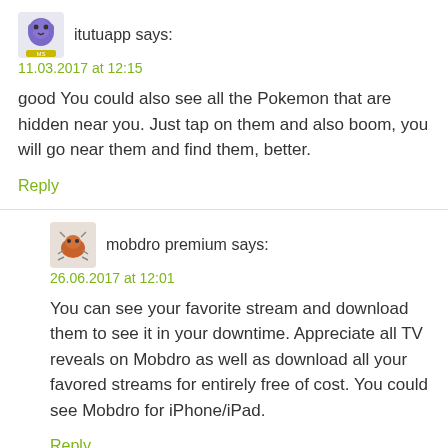itutuapp says:
11.03.2017 at 12:15
good You could also see all the Pokemon that are hidden near you. Just tap on them and also boom, you will go near them and find them, better.
Reply
mobdro premium says:
26.06.2017 at 12:01
You can see your favorite stream and download them to see it in your downtime. Appreciate all TV reveals on Mobdro as well as download all your favored streams for entirely free of cost. You could see Mobdro for iPhone/iPad.
Reply